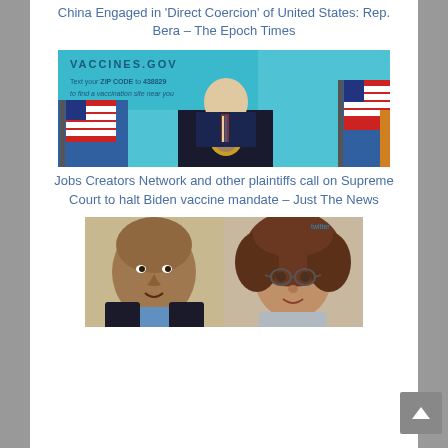China Engaged in 'Direct Coercion' of United States: Rep. Bera – The Epoch Times
[Figure (photo): Person in suit standing at a podium with a Presidential seal, flanked by American flags, in front of a teal backdrop showing VACCINES.GOV and text 'Text your ZIP CODE to 438829 to find a vaccination site near you']
Jobs Creators Network and other plaintiffs call on Supreme Court to halt Biden vaccine mandate – Just The News
[Figure (photo): Side-by-side image of two people: on the left a bald older man in a dark jacket, on the right a woman with curly brown hair wearing glasses]